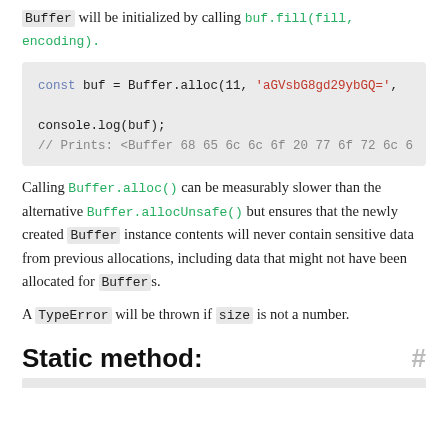Buffer will be initialized by calling buf.fill(fill, encoding).
[Figure (screenshot): Code block showing: const buf = Buffer.alloc(11, 'aGVsbG8gd29ybGQ=', console.log(buf); // Prints: <Buffer 68 65 6c 6c 6f 20 77 6f 72 6c 6]
Calling Buffer.alloc() can be measurably slower than the alternative Buffer.allocUnsafe() but ensures that the newly created Buffer instance contents will never contain sensitive data from previous allocations, including data that might not have been allocated for Buffers.
A TypeError will be thrown if size is not a number.
Static method: #